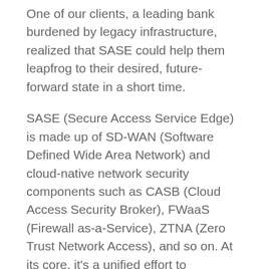One of our clients, a leading bank burdened by legacy infrastructure, realized that SASE could help them leapfrog to their desired, future-forward state in a short time.
SASE (Secure Access Service Edge) is made up of SD-WAN (Software Defined Wide Area Network) and cloud-native network security components such as CASB (Cloud Access Security Broker), FWaaS (Firewall as-a-Service), ZTNA (Zero Trust Network Access), and so on. At its core, it's a unified effort to accelerate the deployment of best-in-class, integrated network and security solutions. Powered by its various components, SASE also enables visibility and automation and helps in operational efficiency.
Putting the needs of banking organizations into perspective